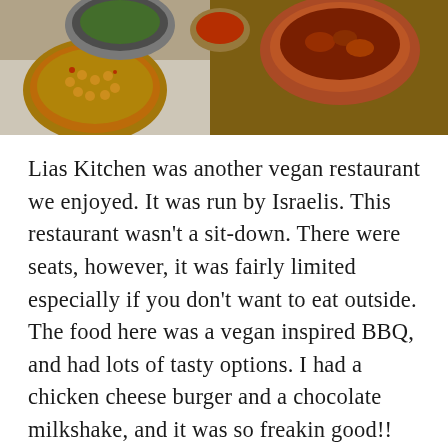[Figure (photo): Photo of Indian or Middle Eastern food dishes on a table, including bowls of curry, chickpeas, and other dishes on metal plates and bowls.]
Lias Kitchen was another vegan restaurant we enjoyed. It was run by Israelis. This restaurant wasn't a sit-down. There were seats, however, it was fairly limited especially if you don't want to eat outside. The food here was a vegan inspired BBQ, and had lots of tasty options. I had a chicken cheese burger and a chocolate milkshake, and it was so freakin good!! Even my family members that eat meat out and didn't have to eat any vegan food on the trip really enjoyed these faux meat sandwiches. I would suggest